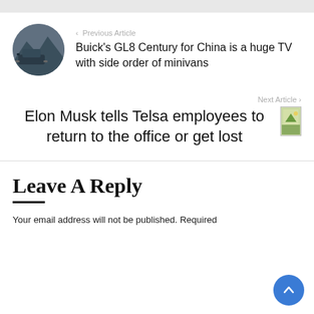[Figure (photo): Circular thumbnail of a Buick GL8 Century car, dark color, mountain background]
‹ Previous Article
Buick's GL8 Century for China is a huge TV with side order of minivans
Next Article ›
Elon Musk tells Telsa employees to return to the office or get lost
[Figure (photo): Small rectangular thumbnail, green/landscape image]
Leave A Reply
Your email address will not be published. Required